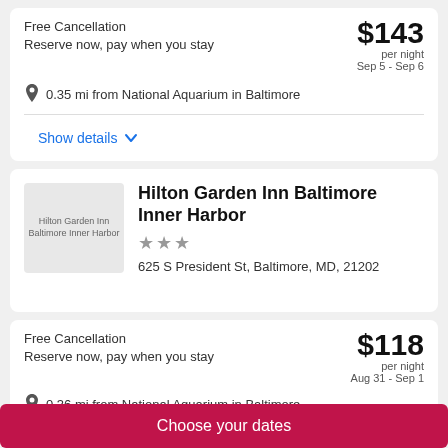Free Cancellation
Reserve now, pay when you stay
$143 per night Sep 5 - Sep 6
0.35 mi from National Aquarium in Baltimore
Show details
[Figure (photo): Hilton Garden Inn Baltimore Inner Harbor hotel thumbnail image placeholder]
Hilton Garden Inn Baltimore Inner Harbor
625 S President St, Baltimore, MD, 21202
Free Cancellation
Reserve now, pay when you stay
$118 per night Aug 31 - Sep 1
0.36 mi from National Aquarium in Baltimore
Choose your dates